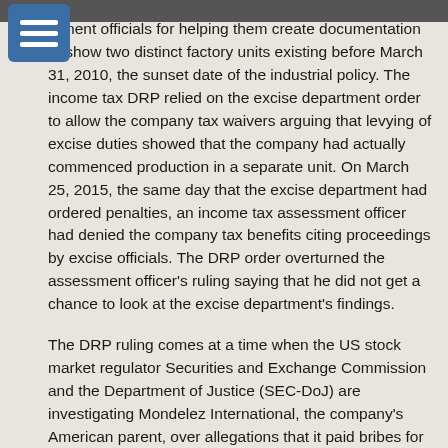rnment officials for helping them create documentation to show two distinct factory units existing before March 31, 2010, the sunset date of the industrial policy. The income tax DRP relied on the excise department order to allow the company tax waivers arguing that levying of excise duties showed that the company had actually commenced production in a separate unit. On March 25, 2015, the same day that the excise department had ordered penalties, an income tax assessment officer had denied the company tax benefits citing proceedings by excise officials. The DRP order overturned the assessment officer's ruling saying that he did not get a chance to look at the excise department's findings.
The DRP ruling comes at a time when the US stock market regulator Securities and Exchange Commission and the Department of Justice (SEC-DoJ) are investigating Mondelez International, the company's American parent, over allegations that it paid bribes for government approvals and documentation to show the phantom factory at Baddi as real.
An ET investigation published in its edition of December 8, 2015, showed how Mondelez' top management in the US knew about